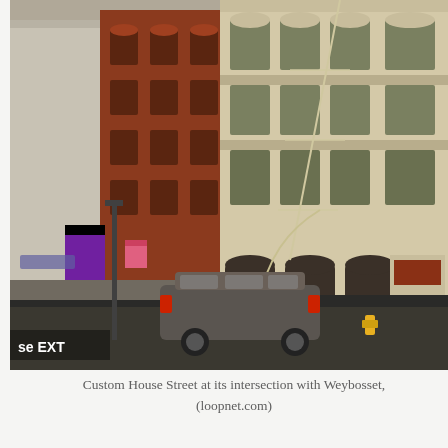[Figure (photo): Street-level photograph of historic buildings on Custom House Street at its intersection with Weybosset. Shows Victorian-era multi-story brick and stone buildings, including a red-brick building on the left and a tan/cream ornate building on the right with fire escapes. A dark SUV is visible on the street, along with street signs and a street lamp. A purple sign and pink no-parking sign are visible on the left. A small watermark reads 'se EXT' in the lower left corner of the image.]
Custom House Street at its intersection with Weybosset, (loopnet.com)